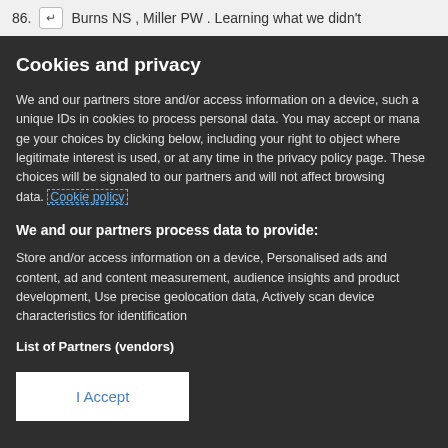86. ↵ Burns NS, Miller PW. Learning what we didn't
Cookies and privacy
We and our partners store and/or access information on a device, such a unique IDs in cookies to process personal data. You may accept or manage your choices by clicking below, including your right to object where legitimate interest is used, or at any time in the privacy policy page. These choices will be signaled to our partners and will not affect browsing data. Cookie policy
We and our partners process data to provide:
Store and/or access information on a device, Personalised ads and content, ad and content measurement, audience insights and product development, Use precise geolocation data, Actively scan device characteristics for identification
List of Partners (vendors)
I Accept